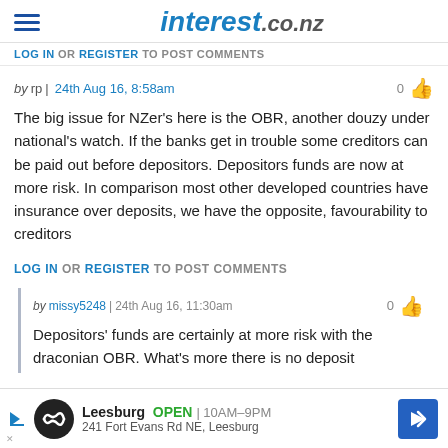interest.co.nz
LOG IN OR REGISTER TO POST COMMENTS
by rp | 24th Aug 16, 8:58am
The big issue for NZer's here is the OBR, another douzy under national's watch. If the banks get in trouble some creditors can be paid out before depositors. Depositors funds are now at more risk. In comparison most other developed countries have insurance over deposits, we have the opposite, favourability to creditors
LOG IN OR REGISTER TO POST COMMENTS
by missy5248 | 24th Aug 16, 11:30am
Depositors' funds are certainly at more risk with the draconian OBR. What's more there is no deposit